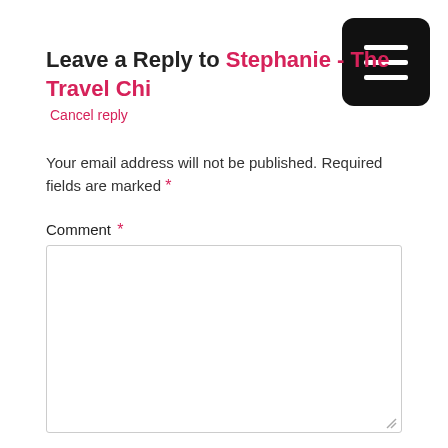Leave a Reply to Stephanie - The Travel Chi
Cancel reply
Your email address will not be published. Required fields are marked *
Comment *
Name *